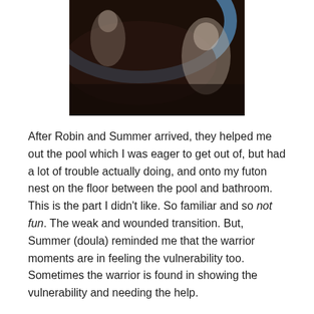[Figure (photo): Dark photograph showing people in or around a large round birthing pool with a blue rim, taken in dim indoor lighting.]
After Robin and Summer arrived, they helped me out the pool which I was eager to get out of, but had a lot of trouble actually doing, and onto my futon nest on the floor between the pool and bathroom. This is the part I didn't like. So familiar and so not fun. The weak and wounded transition. But, Summer (doula) reminded me that the warrior moments are in feeling the vulnerability too. Sometimes the warrior is found in showing the vulnerability and needing the help.
After some lying on the futon and waiting for the placenta